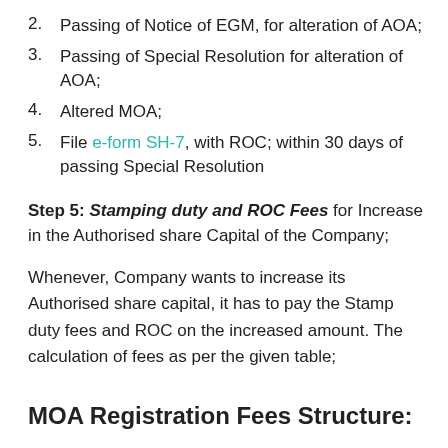2. Passing of Notice of EGM, for alteration of AOA;
3. Passing of Special Resolution for alteration of AOA;
4. Altered MOA;
5. File e-form SH-7, with ROC; within 30 days of passing Special Resolution
Step 5: Stamping duty and ROC Fees for Increase in the Authorised share Capital of the Company;
Whenever, Company wants to increase its Authorised share capital, it has to pay the Stamp duty fees and ROC on the increased amount. The calculation of fees as per the given table;
MOA Registration Fees Structure: